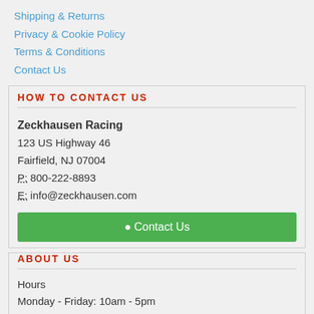Shipping & Returns
Privacy & Cookie Policy
Terms & Conditions
Contact Us
HOW TO CONTACT US
Zeckhausen Racing
123 US Highway 46
Fairfield, NJ 07004
P: 800-222-8893
E: info@zeckhausen.com
Contact Us
ABOUT US
Hours
Monday - Friday: 10am - 5pm
Phone
Toll Free: (800) 222-8893